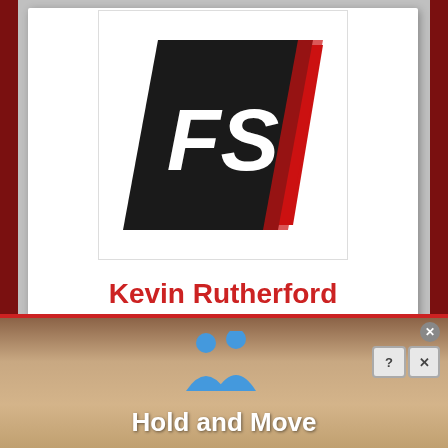[Figure (logo): Frontstretch FS logo — black diamond shape with white FS letters and red accent stripe]
Kevin Rutherford
Rutherford is the managing editor of Frontstretch, a position he gained in 2015 after serving on the editing staff for two years. At his day job, he's a journalist covering music and rock charts at Billboard. He lives in New York City, but his heart is in Ohio -- you know, like that Hawthorne Heights song.
[Figure (screenshot): Hold and Move app advertisement banner with two blue figure icons and wooden background]